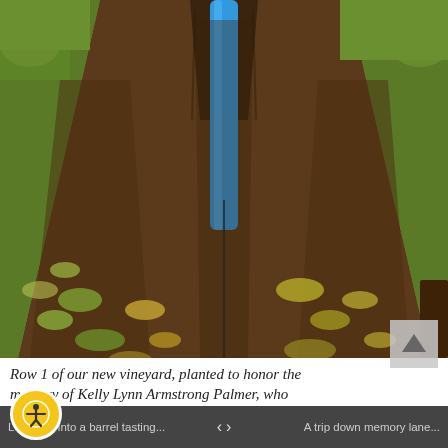[Figure (photo): Outdoor photograph showing rows of newly planted vineyard vines in brown soil. A bright blue tube or pipe is visible in the upper center of the image, sticking up from the ground. Green grass borders the tilled rows on both sides. Small green and yellow seedling plants are visible in the disturbed soil rows.]
Row 1 of our new vineyard, planted to honor the memory of Kelly Lynn Armstrong Palmer, who wasn't afraid to take a chance, and gave so much
Lue...uck into a barrel tasting...   ‹   ›   A trip down memory lane...